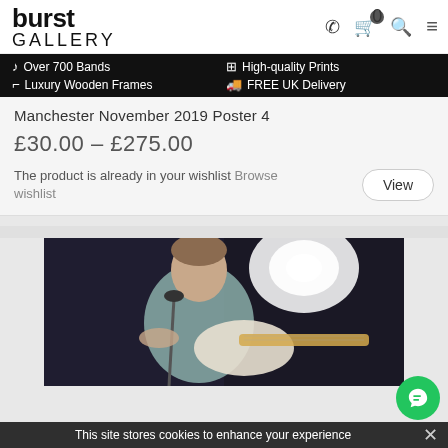[Figure (logo): Burst Gallery logo - 'burst' in bold black and 'GALLERY' in thin uppercase below]
[Figure (screenshot): Navigation icons: phone, shopping cart with badge '0', search, hamburger menu]
♪ Over 700 Bands
High-quality Prints
Luxury Wooden Frames
FREE UK Delivery
Manchester November 2019 Poster 4
£30.00 – £275.00
The product is already in your wishlist Browse wishlist
[Figure (photo): Concert photo of a young male guitarist playing an electric guitar on stage with bright stage lighting behind him]
This site stores cookies to enhance your experience